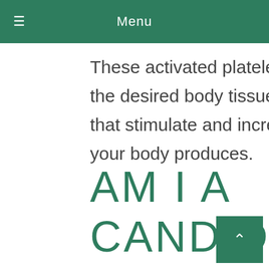Menu
These activated platelets are then injected directly into the desired body tissue. This releases growth factors that stimulate and increase the number of repairing cells your body produces.
AM I A CANDIDATE FOR PRP THERAPY?